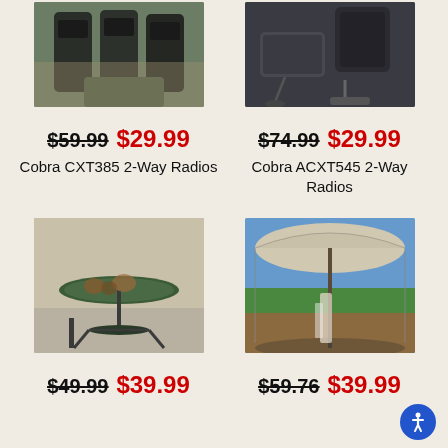[Figure (photo): Cobra CXT385 2-Way Radios product photo showing two walkie-talkies outdoors]
[Figure (photo): Cobra ACXT545 2-Way Radios product photo showing radios with charger and USB cable]
$59.99 $29.99 Cobra CXT385 2-Way Radios
$74.99 $29.99 Cobra ACXT545 2-Way Radios
[Figure (photo): Fire pit product photo showing a round outdoor fire bowl on decorative legs on a patio]
[Figure (photo): Umbrella screen enclosure product photo showing a woman inside a patio umbrella with mosquito net screen]
$49.99 $39.99
$59.76 $39.99